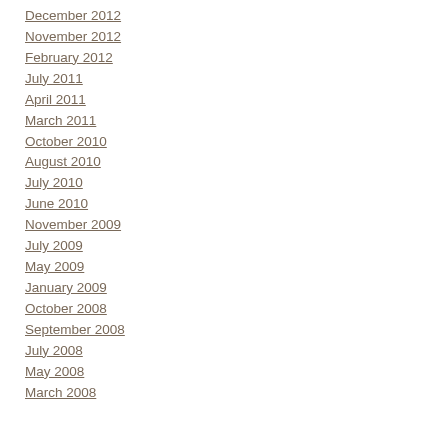December 2012
November 2012
February 2012
July 2011
April 2011
March 2011
October 2010
August 2010
July 2010
June 2010
November 2009
July 2009
May 2009
January 2009
October 2008
September 2008
July 2008
May 2008
March 2008